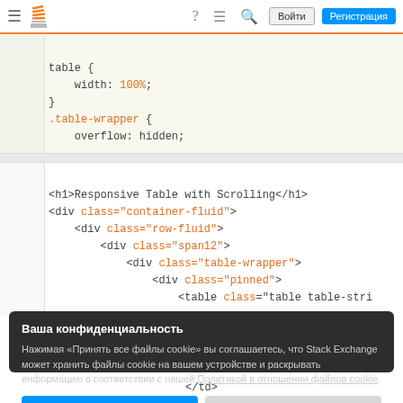[Figure (screenshot): Stack Overflow navigation bar with hamburger menu, logo, icons, and login/register buttons]
[Figure (screenshot): Code editor showing CSS code: table { width: 100%; } .table-wrapper { overflow: hidden; }]
[Figure (screenshot): Code editor showing HTML code with responsive table structure using container-fluid, row-fluid, span12, table-wrapper, and pinned div classes]
Ваша конфиденциальность
Нажимая «Принять все файлы cookie» вы соглашаетесь, что Stack Exchange может хранить файлы cookie на вашем устройстве и раскрывать информацию в соответствии с нашей Политикой в отношении файлов cookie.
Принять все файлы cookie
Настроить параметры
</td>